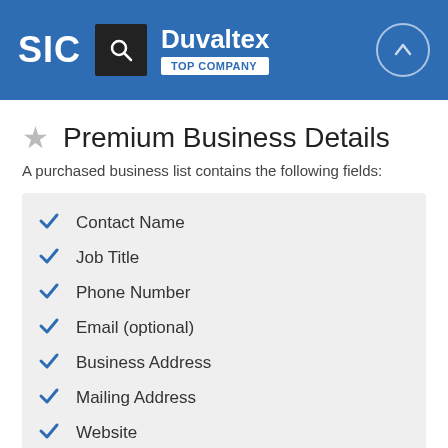SIC | Duvaltex | TOP COMPANY
Premium Business Details
A purchased business list contains the following fields:
Contact Name
Job Title
Phone Number
Email (optional)
Business Address
Mailing Address
Website
Latitude / Longitude
Modeled Credit Rating
Square Footage
Public / Private